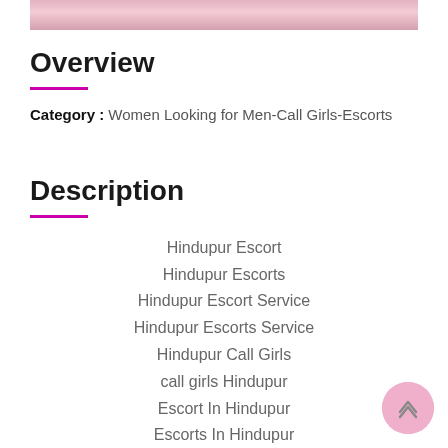[Figure (photo): Partial image strip visible at top of page, showing blurred pink/floral imagery]
Overview
Category : Women Looking for Men-Call Girls-Escorts
Description
Hindupur Escort
Hindupur Escorts
Hindupur Escort Service
Hindupur Escorts Service
Hindupur Call Girls
call girls Hindupur
Escort In Hindupur
Escorts In Hindupur